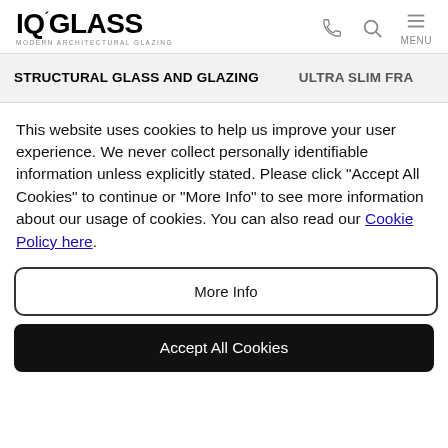IQ GLASS — Modern Architectural Glazing
STRUCTURAL GLASS AND GLAZING   ULTRA SLIM FRA
This website uses cookies to help us improve your user experience. We never collect personally identifiable information unless explicitly stated. Please click "Accept All Cookies" to continue or "More Info" to see more information about our usage of cookies. You can also read our Cookie Policy here.
More Info
Accept All Cookies